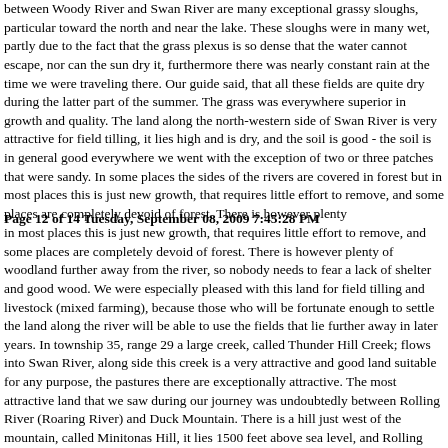between Woody River and Swan River are many exceptional grassy sloughs, particular toward the north and near the lake. These sloughs were in many wet, partly due to the fact that the grass plexus is so dense that the water cannot escape, nor can the sun dry it, furthermore there was nearly constant rain at the time we were traveling there. Our guide said, that all these fields are quite dry during the latter part of the summer. The grass was everywhere superior in growth and quality. The land along the north-western side of Swan River is very attractive for field tilling, it lies high and is dry, and the soil is good - the soil is in general good everywhere we went with the exception of two or three patches that were sandy. In some places the sides of the rivers are covered in forest but in most places this is just new growth, that requires little effort to remove, and some places are completely devoid of forest. There is however plenty
Page 12 of 14 Tuesday, September 08, 2009 7:45:28 PM
in most places this is just new growth, that requires little effort to remove, and some places are completely devoid of forest. There is however plenty of woodland further away from the river, so nobody needs to fear a lack of shelter and good wood. We were especially pleased with this land for field tilling and livestock (mixed farming), because those who will be fortunate enough to settle the land along the river will be able to use the fields that lie further away in later years. In township 35, range 29 a large creek, called Thunder Hill Creek; flows into Swan River, along side this creek is a very attractive and good land suitable for any purpose, the pastures there are exceptionally attractive. The most attractive land that we saw during our journey was undoubtedly between Rolling River (Roaring River) and Duck Mountain. There is a hill just west of the mountain, called Minitonas Hill, it lies 1500 feet above sea level, and Rolling River (Roaring River) runs along the west side of the hill and Favel River runs along the east side